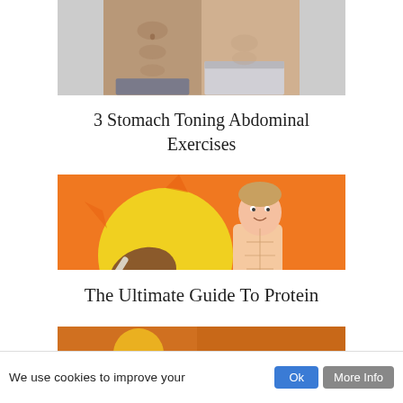[Figure (photo): Cropped photo showing two people's torsos with toned abdominal muscles, wearing athletic shorts.]
3 Stomach Toning Abdominal Exercises
[Figure (illustration): Cartoon illustration of a shirtless muscular man with abs next to a turkey drumstick on an orange and yellow sunburst background. Text reads 'FreeFitnessTips'.]
The Ultimate Guide To Protein
[Figure (illustration): Partially visible illustration at bottom of page, orange background, partially cut off.]
We use cookies to improve your